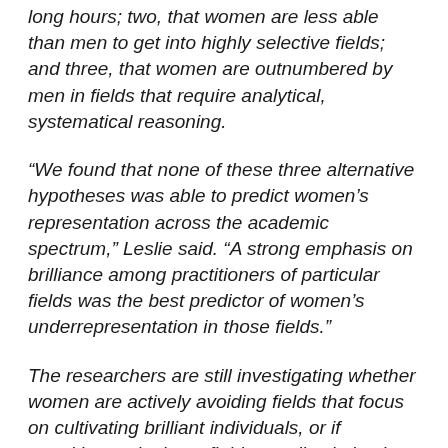long hours; two, that women are less able than men to get into highly selective fields; and three, that women are outnumbered by men in fields that require analytical, systematical reasoning.
“We found that none of these three alternative hypotheses was able to predict women’s representation across the academic spectrum,” Leslie said. “A strong emphasis on brilliance among practitioners of particular fields was the best predictor of women’s underrepresentation in those fields.”
The researchers are still investigating whether women are actively avoiding fields that focus on cultivating brilliant individuals, or if practitioners in those fields are discriminating against women based on their beliefs about women’s aptitudes. A combination of the two is certainly